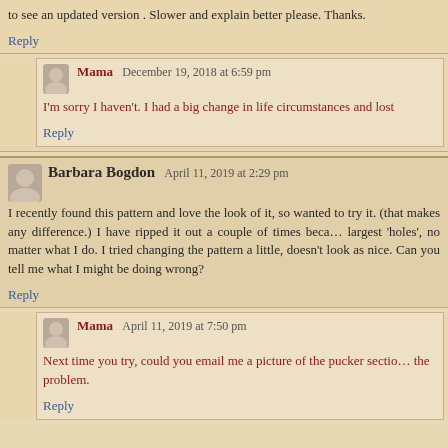to see an updated version . Slower and explain better please. Thanks.
Reply
Mama   December 19, 2018 at 6:59 pm
I'm sorry I haven't. I had a big change in life circumstances and lost
Reply
Barbara Bogdon   April 11, 2019 at 2:29 pm
I recently found this pattern and love the look of it, so wanted to try it. (that makes any difference.) I have ripped it out a couple of times because largest 'holes', no matter what I do. I tried changing the pattern a little, doesn't look as nice. Can you tell me what I might be doing wrong?
Reply
Mama   April 11, 2019 at 7:50 pm
Next time you try, could you email me a picture of the pucker section the problem.
Reply